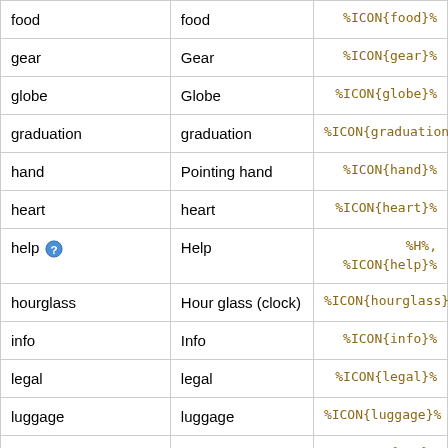|  |  |  |
| --- | --- | --- |
| food | food | %ICON{food}% |
| gear | Gear | %ICON{gear}% |
| globe | Globe | %ICON{globe}% |
| graduation | graduation | %ICON{graduation}% |
| hand | Pointing hand | %ICON{hand}% |
| heart | heart | %ICON{heart}% |
| help | Help | %H%, %ICON{help}% |
| hourglass | Hour glass (clock) | %ICON{hourglass}% |
| info | Info | %ICON{info}% |
| legal | legal | %ICON{legal}% |
| luggage | luggage | %ICON{luggage}% |
| map | Map | %ICON{map}% |
| mechanics | mechanics | %ICON{mechanics}% |